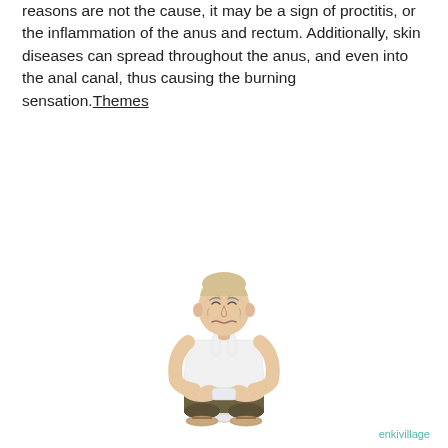reasons are not the cause, it may be a sign of proctitis, or the inflammation of the anus and rectum. Additionally, skin diseases can spread throughout the anus, and even into the anal canal, thus causing the burning sensation.Themes
[Figure (illustration): Cartoon illustration of an elderly man with a pained expression sitting on a toilet with his pants pulled down to his ankles, wearing sandals. Watermark reads 'enkivillage'.]